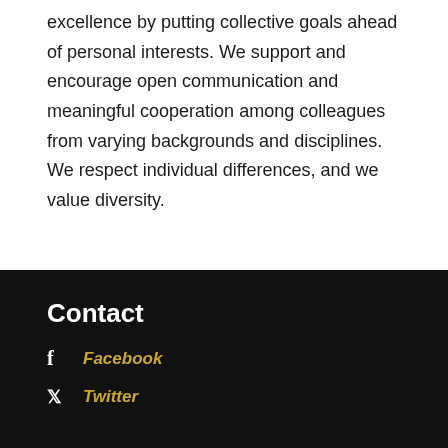excellence by putting collective goals ahead of personal interests. We support and encourage open communication and meaningful cooperation among colleagues from varying backgrounds and disciplines. We respect individual differences, and we value diversity.
Contact
Facebook
Twitter